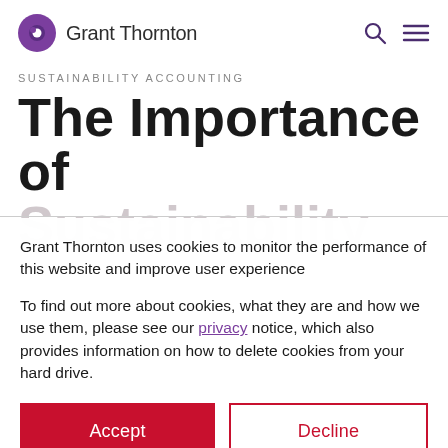Grant Thornton
SUSTAINABILITY ACCOUNTING
The Importance of Sustainability
Grant Thornton uses cookies to monitor the performance of this website and improve user experience
To find out more about cookies, what they are and how we use them, please see our privacy notice, which also provides information on how to delete cookies from your hard drive.